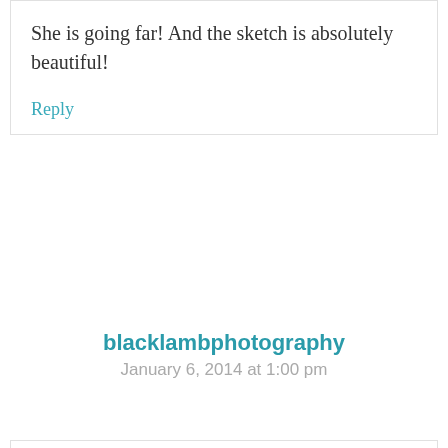She is going far! And the sketch is absolutely beautiful!
Reply
blacklambphotography
January 6, 2014 at 1:00 pm
Wow! This is truly an amazing transformation! Love it!
Reply